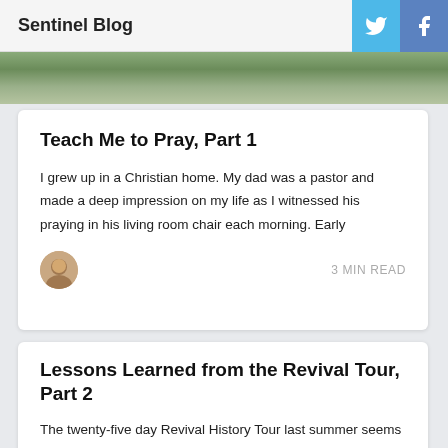Sentinel Blog
[Figure (photo): Hero image showing a landscape or nature scene in green and brown tones]
Teach Me to Pray, Part 1
I grew up in a Christian home. My dad was a pastor and made a deep impression on my life as I witnessed his praying in his living room chair each morning. Early
3 MIN READ
Lessons Learned from the Revival Tour, Part 2
The twenty-five day Revival History Tour last summer seems long ago, but the lessons learned continue to linger fresh in my mind and heart. Revival leaders come from a diverse theological spectrum. One